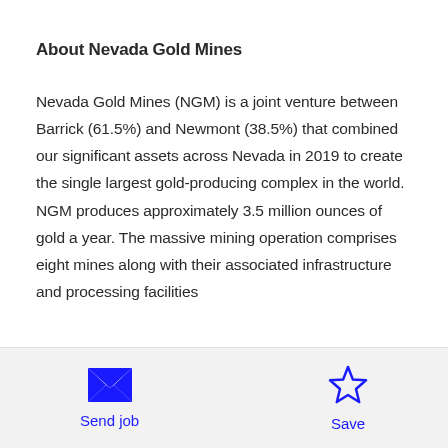About Nevada Gold Mines
Nevada Gold Mines (NGM) is a joint venture between Barrick (61.5%) and Newmont (38.5%) that combined our significant assets across Nevada in 2019 to create the single largest gold-producing complex in the world. NGM produces approximately 3.5 million ounces of gold a year. The massive mining operation comprises eight mines along with their associated infrastructure and processing facilities
[Figure (illustration): Envelope icon for Send job action]
Send job
[Figure (illustration): Star icon for Save action]
Save